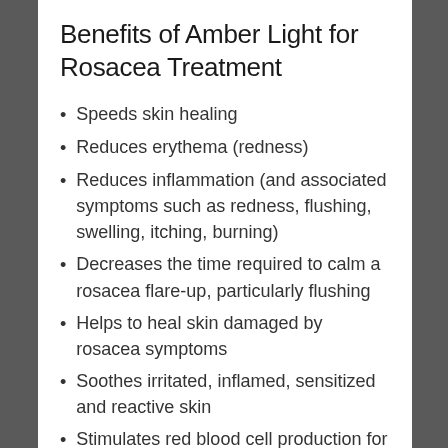Benefits of Amber Light for Rosacea Treatment
Speeds skin healing
Reduces erythema (redness)
Reduces inflammation (and associated symptoms such as redness, flushing, swelling, itching, burning)
Decreases the time required to calm a rosacea flare-up, particularly flushing
Helps to heal skin damaged by rosacea symptoms
Soothes irritated, inflamed, sensitized and reactive skin
Stimulates red blood cell production for improved healing and overall skin health
Decreases the appearance of visible blood